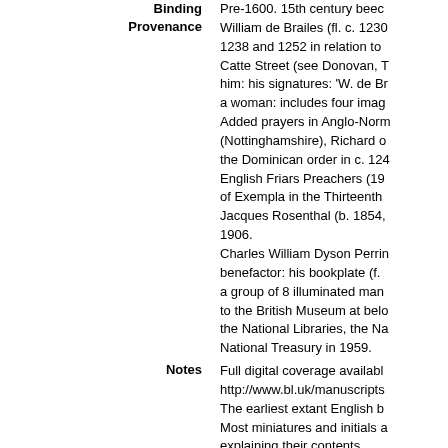| Field | Value |
| --- | --- |
| Binding | Pre-1600. 15th century beec... |
| Provenance | William de Brailes (fl. c. 1230... 1238 and 1252 in relation to... Catte Street (see Donovan, T... him: his signatures: 'W. de Br... a woman: includes four imag... Added prayers in Anglo-Norm... (Nottinghamshire), Richard o... the Dominican order in c. 124... English Friars Preachers (19... of Exempla in the Thirteenth... Jacques Rosenthal (b. 1854,... 1906. Charles William Dyson Perrin... benefactor: his bookplate (f. ... a group of 8 illuminated man... to the British Museum at belo... the National Libraries, the Na... National Treasury in 1959. |
| Notes | Full digital coverage availabl... http://www.bl.uk/manuscripts... The earliest extant English b... Most miniatures and initials a... explaining their contents. The binding of the manuscrip... Pollard, 'The Construction of... xvii, 1962, p. 3 and note, sta... manuscript. It consists of bee... puce. Spine and tailband mis... and a silk strap with a pin fas... the strap. The manuscript wa... |